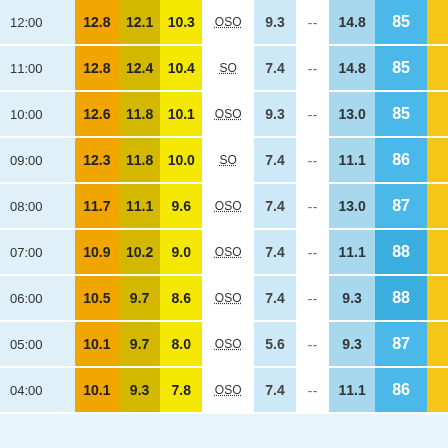| Time | Col1 | Col2 | Col3 | Wind Dir | Wind Speed | Dash | Col7 | Humidity | Col9 |
| --- | --- | --- | --- | --- | --- | --- | --- | --- | --- |
| 12:00 | 12.8 | 12.1 | 10.3 | OSO | 9.3 | -- | 14.8 | 85 |  |
| 11:00 | 12.8 | 12.4 | 10.4 | SO | 7.4 | -- | 14.8 | 85 |  |
| 10:00 | 12.6 | 11.8 | 10.1 | OSO | 9.3 | -- | 13.0 | 85 |  |
| 09:00 | 12.3 | 11.8 | 10.0 | SO | 7.4 | -- | 11.1 | 86 |  |
| 08:00 | 11.7 | 11.1 | 9.6 | OSO | 7.4 | -- | 13.0 | 87 |  |
| 07:00 | 10.9 | 10.2 | 9.0 | OSO | 7.4 | -- | 11.1 | 88 |  |
| 06:00 | 10.5 | 9.7 | 8.6 | OSO | 7.4 | -- | 9.3 | 88 |  |
| 05:00 | 10.1 | 9.7 | 8.0 | OSO | 5.6 | -- | 9.3 | 87 |  |
| 04:00 | 10.1 | 9.3 | 7.8 | OSO | 7.4 | -- | 11.1 | 86 |  |